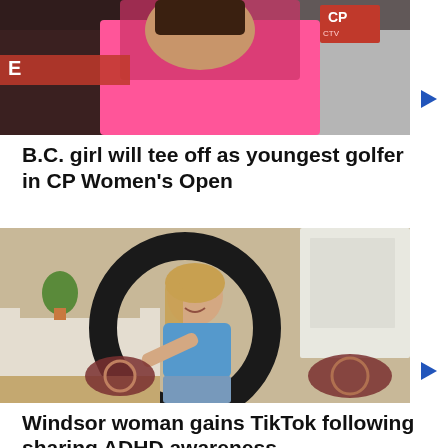[Figure (photo): Photo of a young woman in a pink shirt, with a CP logo badge and CTV watermark visible in the top-right corner. A play button is visible to the right of the image.]
B.C. girl will tee off as youngest golfer in CP Women's Open
[Figure (photo): Photo of a young woman in a blue crop top and jeans, smiling and pointing at the camera, viewed through a circular ring light. She is in a living room setting.]
Windsor woman gains TikTok following sharing ADHD awareness